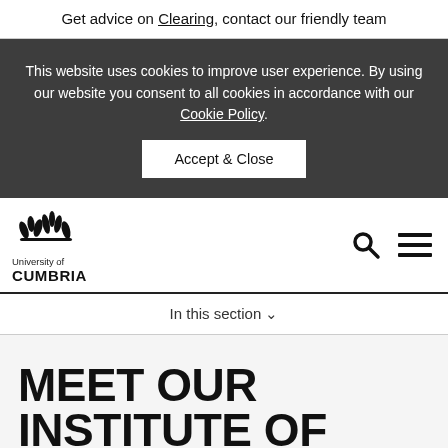Get advice on Clearing, contact our friendly team
This website uses cookies to improve user experience. By using our website you consent to all cookies in accordance with our Cookie Policy.
Accept & Close
[Figure (logo): University of Cumbria logo with stylized leaf/flame motif and text 'University of CUMBRIA']
In this section ∨
MEET OUR INSTITUTE OF HEALTH LECTURERS